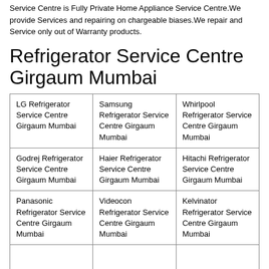Service Centre is Fully Private Home Appliance Service Centre.We provide Services and repairing on chargeable biases.We repair and Service only out of Warranty products.
Refrigerator Service Centre Girgaum Mumbai
| LG Refrigerator Service Centre Girgaum Mumbai | Samsung Refrigerator Service Centre Girgaum Mumbai | Whirlpool Refrigerator Service Centre Girgaum Mumbai |
| Godrej Refrigerator Service Centre Girgaum Mumbai | Haier Refrigerator Service Centre Girgaum Mumbai | Hitachi Refrigerator Service Centre Girgaum Mumbai |
| Panasonic Refrigerator Service Centre Girgaum Mumbai | Videocon Refrigerator Service Centre Girgaum Mumbai | Kelvinator Refrigerator Service Centre Girgaum Mumbai |